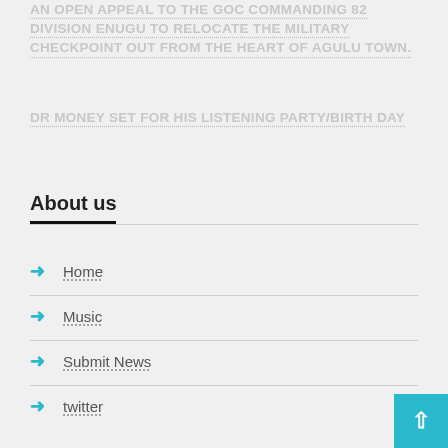AN OPEN APPEAL TO THE GOC COMMANDING 82 DIVISION ENUGU TO RELOCATE THE MILITARY CHECKPOINT OUT FROM THE HEART OF AGULU TOWN.
DR MONEY SET FOR HIS LISTENING PARTY/BIRTH DAY
About us
Home
Music
Submit News
twitter